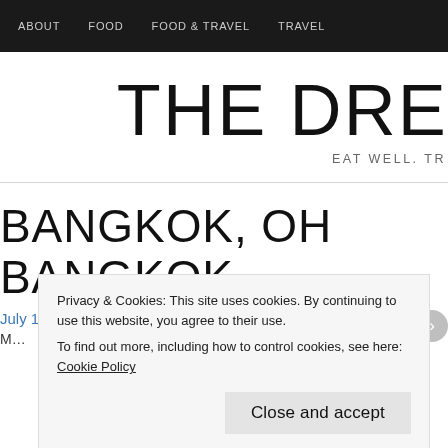ABOUT  FOOD  FOOD & TRAVEL  TRAVEL
THE DRE
EAT WELL. TR
BANGKOK, OH BANGKOK
July 10, 2014
M... as
Privacy & Cookies: This site uses cookies. By continuing to use this website, you agree to their use.
To find out more, including how to control cookies, see here: Cookie Policy
Close and accept